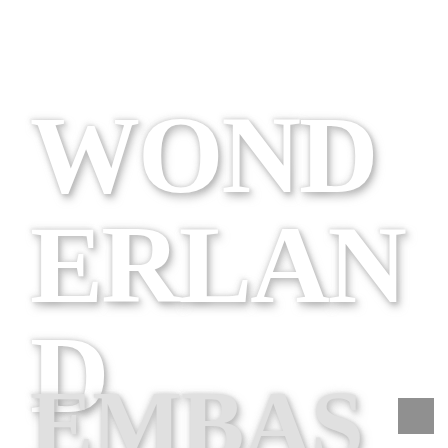[Figure (illustration): Large white embossed/debossed text reading WONDERLAND split across three lines: WOND / ERLAN / D, followed by partially visible text EMBAS at bottom. White serif bold letters with subtle shadow effect on white background. A small gray square is in the bottom-right corner.]